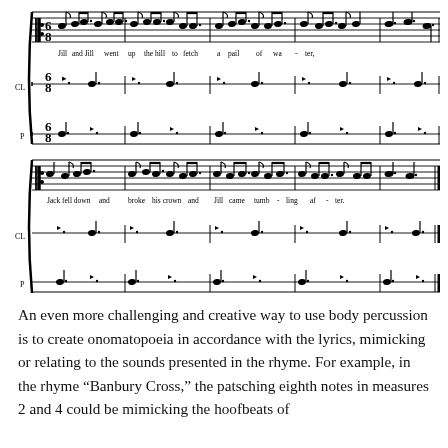[Figure (illustration): Musical score showing two systems of sheet music for 'Jack and Jill' nursery rhyme arranged for voice (with lyrics), CL (claves/body percussion), and P (patsch). Top system shows 'Jill and Jill went up the hill to fetch a pail of water,' in 6/8 time. Bottom system shows 'Jack fell down and broke his crown and Jill came tumbling after.' in 6/8 time. Both systems have three staves each.]
An even more challenging and creative way to use body percussion is to create onomatopoeia in accordance with the lyrics, mimicking or relating to the sounds presented in the rhyme. For example, in the rhyme “Banbury Cross,” the patsching eighth notes in measures 2 and 4 could be mimicking the hoofbeats of